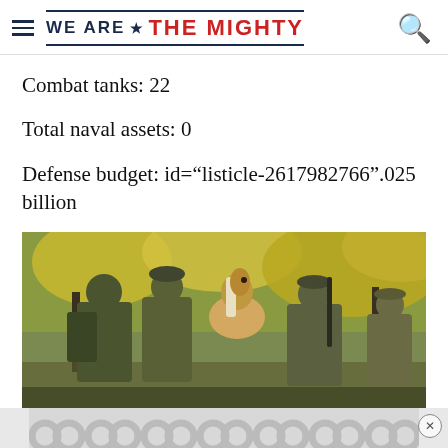WE ARE ★ THE MIGHTY
Combat tanks: 22
Total naval assets: 0
Defense budget: id="listicle-2617982766".025 billion
[Figure (photo): Soldiers in military gear with a light-colored horse in a wooded outdoor setting]
[Figure (other): Advertisement banner with repeating circular pattern]